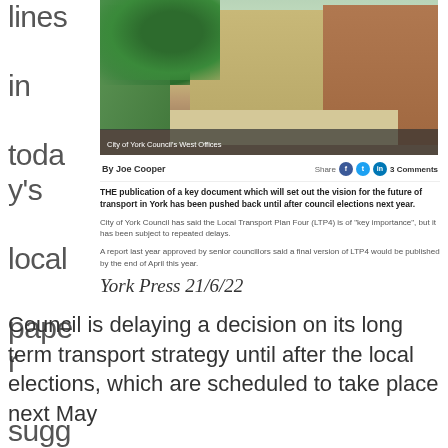lines in today's local paper suggest that the York
[Figure (photo): City of York Council's West Offices building exterior with trees and street]
City of York Council's West Offices
By Joe Cooper
Share 3 Comments
THE publication of a key document which will set out the vision for the future of transport in York has been pushed back until after council elections next year.
City of York Council has said the Local Transport Plan Four (LTP4) is of "key importance", but it has been subject to repeated delays.
A report last year approved by senior councillors said a final version of LTP4 would be published by the end of April this year.
York Press 21/6/22
Council is delaying a decision on its long term transport strategy until after the local elections, which are scheduled to take place next May